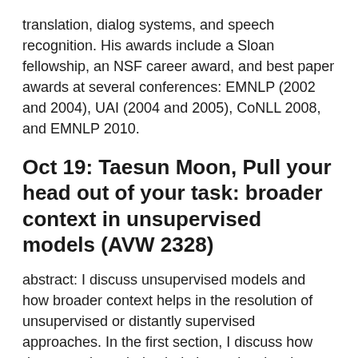translation, dialog systems, and speech recognition. His awards include a Sloan fellowship, an NSF career award, and best paper awards at several conferences: EMNLP (2002 and 2004), UAI (2004 and 2005), CoNLL 2008, and EMNLP 2010.
Oct 19: Taesun Moon, Pull your head out of your task: broader context in unsupervised models (AVW 2328)
abstract: I discuss unsupervised models and how broader context helps in the resolution of unsupervised or distantly supervised approaches. In the first section, I discuss how document boundaries help in two low-level unsupervised tasks that aren't traditionally resolved in terms of documents: unsupervised morphological segmentation/clustering and unsupervised part-of-speech tagging. For unsupervised morphology, I describe an intuitive model that uses document boundaries to strongly